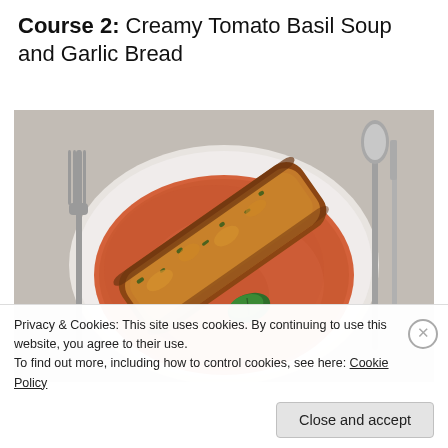Course 2: Creamy Tomato Basil Soup and Garlic Bread
[Figure (photo): Overhead photo of a white bowl of creamy tomato basil soup with a piece of toasted garlic bread resting on top and a fresh basil leaf garnish. A fork is visible on the left and a spoon and knife on the right.]
Privacy & Cookies: This site uses cookies. By continuing to use this website, you agree to their use.
To find out more, including how to control cookies, see here: Cookie Policy
Close and accept